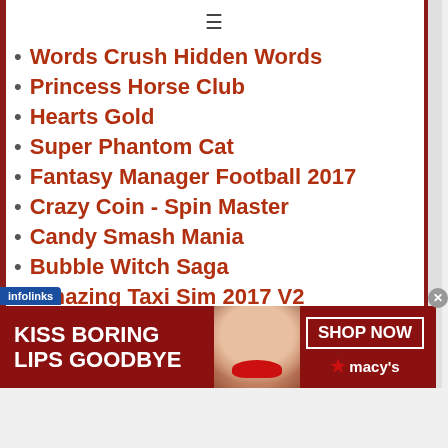≡
Words Crush Hidden Words
Princess Horse Club
Hearts Gold
Super Phantom Cat
Fantasy Manager Football 2017
Crazy Coin - Spin Master
Candy Smash Mania
Bubble Witch Saga
Amazing Taxi Sim 2017 V2
Dog Run - Pet Dog Simulator
Wrestling Revolution 3D
More Games
[Figure (photo): Advertisement banner: KISS BORING LIPS GOODBYE with woman's face and red lips, SHOP NOW button, Macy's logo with star]